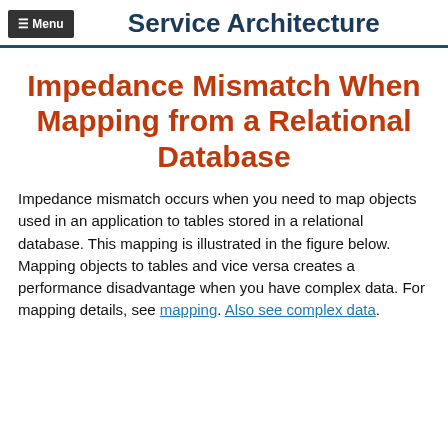≡ Menu   Service Architecture
Impedance Mismatch When Mapping from a Relational Database
Impedance mismatch occurs when you need to map objects used in an application to tables stored in a relational database. This mapping is illustrated in the figure below. Mapping objects to tables and vice versa creates a performance disadvantage when you have complex data. For mapping details, see mapping. Also see complex data.